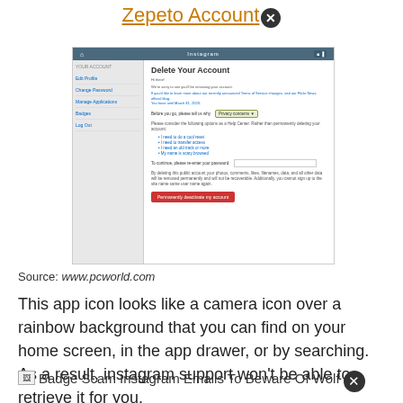Zepeto Account ✕
[Figure (screenshot): Instagram 'Delete Your Account' settings page screenshot showing sidebar navigation and main content with delete account form including reason dropdown, bullet points, password field, and red delete button]
Source: www.pcworld.com
This app icon looks like a camera icon over a rainbow background that you can find on your home screen, in the app drawer, or by searching. As a result, instagram support won't be able to retrieve it for you.
[Figure (screenshot): Badge Scam Instagram Emails To Beware Of Wolf - partial image with close button]